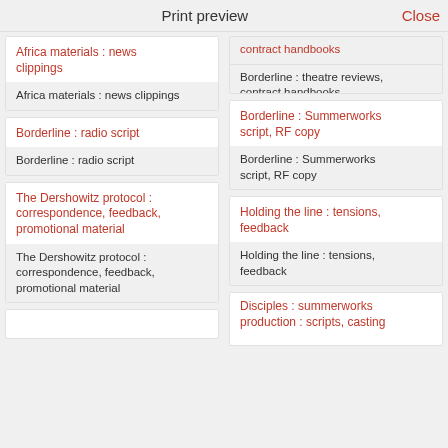Print preview   Close
Africa materials : news clippings
Africa materials : news clippings
Borderline : radio script
Borderline : radio script
The Dershowitz protocol : correspondence, feedback, promotional material
The Dershowitz protocol : correspondence, feedback, promotional material
contract handbooks (partial, top)
Borderline : theatre reviews, contract handbooks
Borderline : Summerworks script, RF copy
Borderline : Summerworks script, RF copy
Holding the line : tensions, feedback
Holding the line : tensions, feedback
Disciples : summerworks production : scripts, casting (partial)